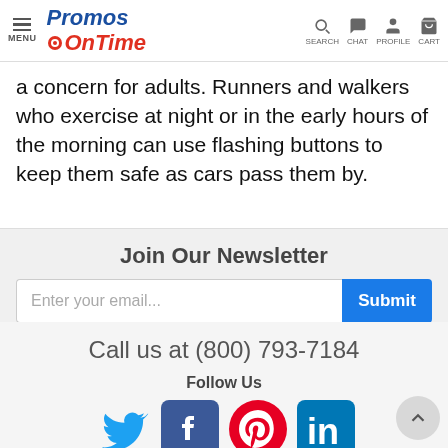MENU | Promos OnTime | SEARCH CHAT PROFILE CART
a concern for adults. Runners and walkers who exercise at night or in the early hours of the morning can use flashing buttons to keep them safe as cars pass them by.
Join Our Newsletter
Enter your email...
Call us at (800) 793-7184
Follow Us
[Figure (logo): Social media icons: Twitter (blue bird), Facebook (blue f), Pinterest (red P), LinkedIn (blue in)]